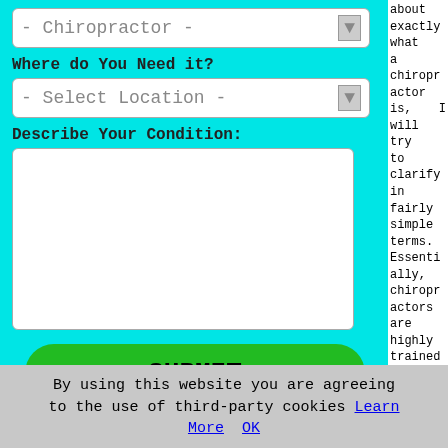[Figure (screenshot): Web form UI on cyan background with dropdown for Chiropractor, Where do You Need it? label, Select Location dropdown, Describe Your Condition label, large text area, and green SUBMIT button]
about exactly what a chiropractor is, I will try to clarify in fairly simple terms. Essentially, chiropractors are highly trained medical therapists who, by using their hands, manipulate the spine to help relieve pain which has been caused by issues with the nervous system and
By using this website you are agreeing to the use of third-party cookies Learn More OK